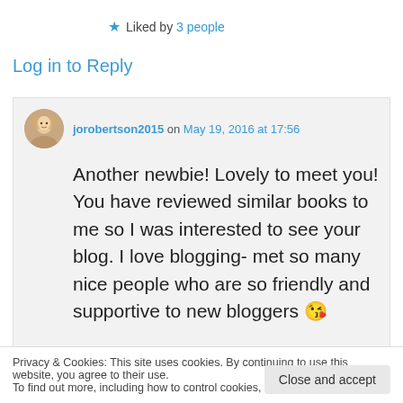★ Liked by 3 people
Log in to Reply
[Figure (photo): User avatar for jorobertson2015]
jorobertson2015 on May 19, 2016 at 17:56
Another newbie! Lovely to meet you! You have reviewed similar books to me so I was interested to see your blog. I love blogging- met so many nice people who are so friendly and supportive to new bloggers 😘
Privacy & Cookies: This site uses cookies. By continuing to use this website, you agree to their use.
To find out more, including how to control cookies, see here: Cookie Policy
Close and accept